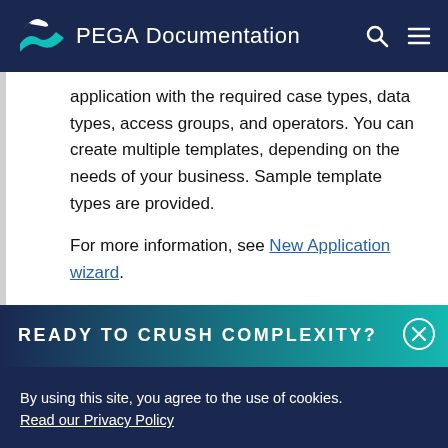PEGA Documentation
application with the required case types, data types, access groups, and operators. You can create multiple templates, depending on the needs of your business. Sample template types are provided.
For more information, see New Application wizard.
READY TO CRUSH COMPLEXITY?
By using this site, you agree to the use of cookies. Read our Privacy Policy
Accept and continue   About cookies